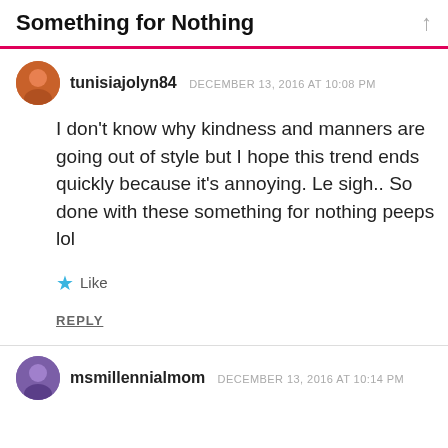Something for Nothing
tunisiajolyn84   DECEMBER 13, 2016 AT 10:08 PM
I don't know why kindness and manners are going out of style but I hope this trend ends quickly because it's annoying. Le sigh.. So done with these something for nothing peeps lol
Like
REPLY
msmillennialmom   DECEMBER 13, 2016 AT 10:14 PM